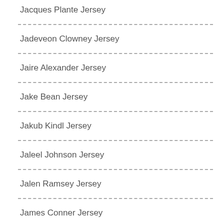Jacques Plante Jersey
Jadeveon Clowney Jersey
Jaire Alexander Jersey
Jake Bean Jersey
Jakub Kindl Jersey
Jaleel Johnson Jersey
Jalen Ramsey Jersey
James Conner Jersey
James Patrick Jersey